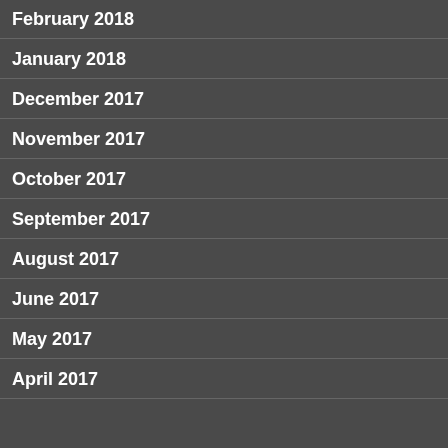February 2018
January 2018
December 2017
November 2017
October 2017
September 2017
August 2017
June 2017
May 2017
April 2017